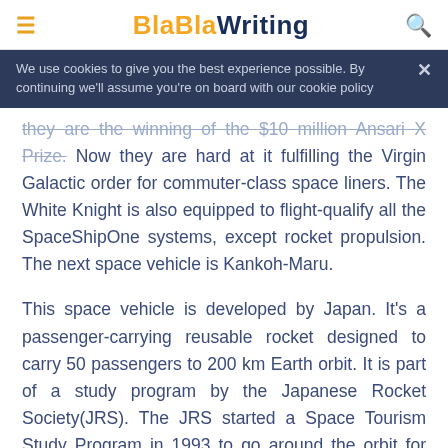BlaBlaWriting
We use cookies to give you the best experience possible. By continuing we'll assume you're on board with our cookie policy
they are the winning of the $10 million Ansari X Prize. Now they are hard at it fulfilling the Virgin Galactic order for commuter-class space liners. The White Knight is also equipped to flight-qualify all the SpaceShipOne systems, except rocket propulsion. The next space vehicle is Kankoh-Maru.
This space vehicle is developed by Japan. It's a passenger-carrying reusable rocket designed to carry 50 passengers to 200 km Earth orbit. It is part of a study program by the Japanese Rocket Society(JRS). The JRS started a Space Tourism Study Program in 1993 to go around the orbit for $10,000 per passenger. Kankoh-Maru project has developed the space tourism today. The other